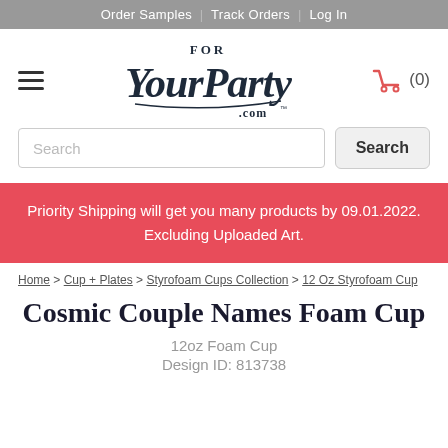Order Samples | Track Orders | Log In
[Figure (logo): ForYourParty.com logo in dark navy script font with 'FOR' in small caps above 'YourParty' in large italic handwriting style, and '.com' below]
Search
Priority Shipping will get you many products by 09.01.2022. Excluding Uploaded Art.
Home > Cup + Plates > Styrofoam Cups Collection > 12 Oz Styrofoam Cup
Cosmic Couple Names Foam Cup
12oz Foam Cup
Design ID: 813738